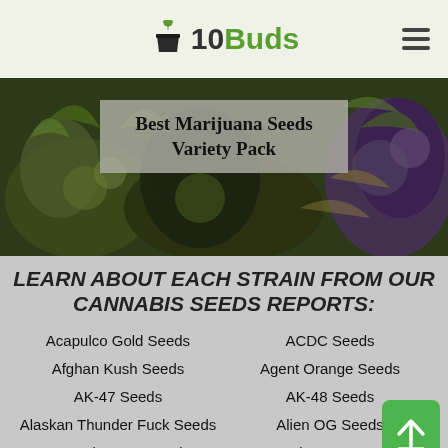10Buds
[Figure (photo): Hero image of cannabis plants with overlay text reading 'Best Marijuana Seeds Variety Pack']
LEARN ABOUT EACH STRAIN FROM OUR CANNABIS SEEDS REPORTS:
Acapulco Gold Seeds
ACDC Seeds
Afghan Kush Seeds
Agent Orange Seeds
AK-47 Seeds
AK-48 Seeds
Alaskan Thunder Fuck Seeds
Alien OG Seeds
Amnesia Haze Seeds
Amnesia Lemon Seeds